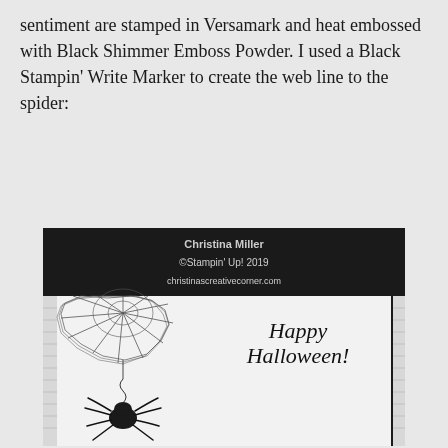sentiment are stamped in Versamark and heat embossed with Black Shimmer Emboss Powder. I used a Black Stampin' Write Marker to create the web line to the spider:
[Figure (photo): Photo of a Halloween card with a spiderweb and spider on the left side and 'Happy Halloween!' text on the right, with a black border and a watermark bar at top showing Christina Miller, ©Stampin' Up! 2019, christinascreativecorner.com]